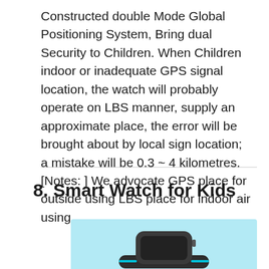Constructed double Mode Global Positioning System, Bring dual Security to Children. When Children indoor or inadequate GPS signal location, the watch will probably operate on LBS manner, supply an approximate place, the error will be brought about by local sign location; a mistake will be 0.3 ~ 4 kilometres. [Notes: ] We advocate GPS place for outside using LBS place for indoor air using.
8. Smart Watch for Kids
[Figure (photo): Photo of a kids smart watch / GPS watch device shown against a light blue background]